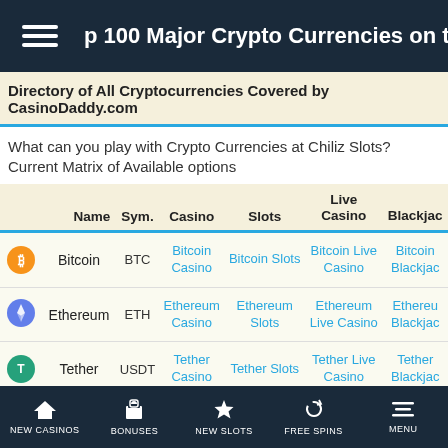Top 100 Major Crypto Currencies on the Market
Directory of All Cryptocurrencies Covered by CasinoDaddy.com
What can you play with Crypto Currencies at Chiliz Slots? Current Matrix of Available options
|  | Name | Sym. | Casino | Slots | Live Casino | Blackjack |
| --- | --- | --- | --- | --- | --- | --- |
| [BTC icon] | Bitcoin | BTC | Bitcoin Casino | Bitcoin Slots | Bitcoin Live Casino | Bitcoin Blackjack |
| [ETH icon] | Ethereum | ETH | Ethereum Casino | Ethereum Slots | Ethereum Live Casino | Ethereum Blackjack |
| [USDT icon] | Tether | USDT | Tether Casino | Tether Slots | Tether Live Casino | Tether Blackjack |
NEW CASINOS   BONUSES   NEW SLOTS   FREE SPINS   MENU